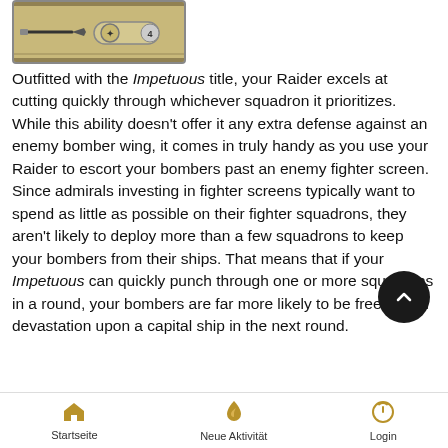[Figure (screenshot): Game card image showing a sword/weapon and a medallion badge with a star symbol, and a number 4 badge, on a tan/parchment colored background]
Outfitted with the Impetuous title, your Raider excels at cutting quickly through whichever squadron it prioritizes. While this ability doesn't offer it any extra defense against an enemy bomber wing, it comes in truly handy as you use your Raider to escort your bombers past an enemy fighter screen. Since admirals investing in fighter screens typically want to spend as little as possible on their fighter squadrons, they aren't likely to deploy more than a few squadrons to keep your bombers from their ships. That means that if your Impetuous can quickly punch through one or more squadrons in a round, your bombers are far more likely to be free to rain devastation upon a capital ship in the next round.
Startseite   Neue Aktivität   Login